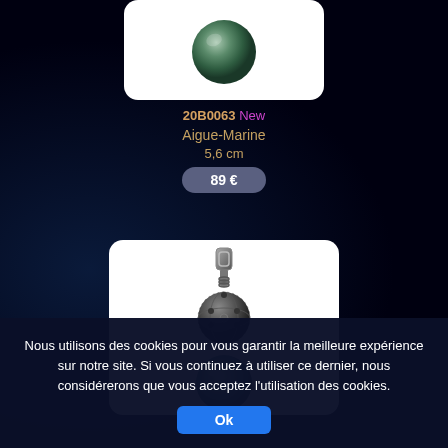[Figure (photo): Green aquamarine sphere gemstone on white background]
20B0063 New
Aigue-Marine
5,6 cm
89 €
[Figure (photo): Pendant jewelry with ornate dark metal filigree ball cap and aquamarine sphere bead on white background]
Nous utilisons des cookies pour vous garantir la meilleure expérience sur notre site. Si vous continuez à utiliser ce dernier, nous considérerons que vous acceptez l'utilisation des cookies.
Ok